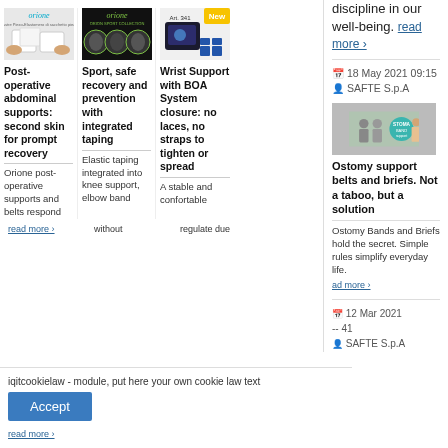discipline in our well-being.
read more ›
18 May 2021 09:15
SAFTE S.p.A
[Figure (photo): Orione brand image - post-operative abdominal supports, white product]
Post-operative abdominal supports: second skin for prompt recovery
Orione post-operative supports and belts respond
read more ›
[Figure (photo): Orione brand image - sport knee and elbow supports on black background]
Sport, safe recovery and prevention with integrated taping
Elastic taping integrated into knee support, elbow band
without
[Figure (photo): Wrist support product with BOA System closure - blue/black brace]
Wrist Support with BOA System closure: no laces, no straps to tighten or spread
A stable and confortable
regulate due
[Figure (photo): Ostomy support belts and briefs - people wearing supports, Stomaband logo]
Ostomy support belts and briefs. Not a taboo, but a solution
Ostomy Bands and Briefs hold the secret. Simple rules simplify everyday life.
ad more ›
12 Mar 2021
-- 41
SAFTE S.p.A
iqitcookielaw - module, put here your own cookie law text
Accept